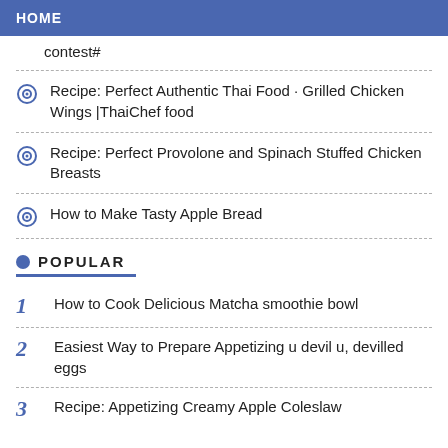HOME
contest#
Recipe: Perfect Authentic Thai Food · Grilled Chicken Wings |ThaiChef food
Recipe: Perfect Provolone and Spinach Stuffed Chicken Breasts
How to Make Tasty Apple Bread
POPULAR
1  How to Cook Delicious Matcha smoothie bowl
2  Easiest Way to Prepare Appetizing u devil u, devilled eggs
3  Recipe: Appetizing Creamy Apple Coleslaw